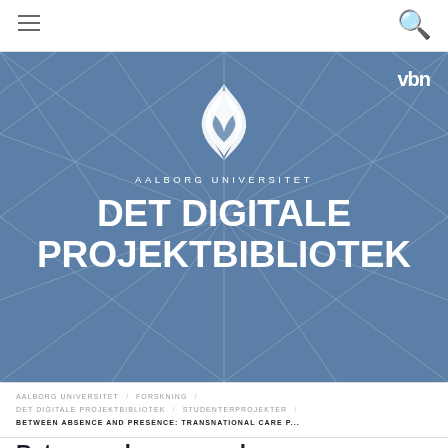[Figure (logo): Navigation bar with hamburger menu icon on left and search magnifier icon on right]
[Figure (logo): Aalborg Universitet blue banner with geometric line pattern background, AAU flame logo, vbn logo top right, AALBORG UNIVERSITET text, and DET DIGITALE PROJEKTBIBLIOTEK large bold title]
AALBORG UNIVERSITET / FORSKNING / DET DIGITALE PROJEKTBIBLIOTEK / STUDENTERPROJEKTER /
BETWEEN ABSENCE AND PRESENCE: TRANSNATIONAL CARE P...
Between absence and presence: transnational care practices...